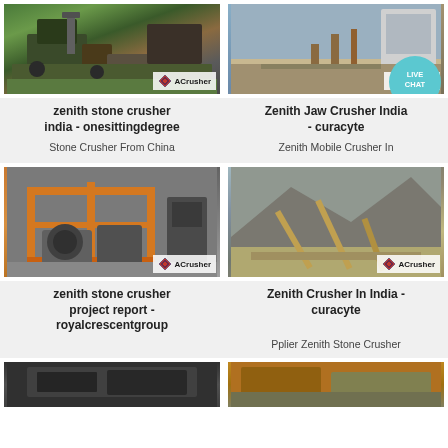[Figure (photo): Industrial stone crusher machine outdoors]
zenith stone crusher india - onesittingdegree
Stone Crusher From China
[Figure (photo): Mining/crushing facility yard with conveyor belts]
Zenith Jaw Crusher India - curacyte
Zenith Mobile Crusher In
[Figure (photo): Orange industrial crusher project equipment]
zenith stone crusher project report - royalcrescentgroup
[Figure (photo): Mountain quarry with conveyor belts]
Zenith Crusher In India - curacyte
Pplier Zenith Stone Crusher
[Figure (photo): Industrial equipment bottom left]
[Figure (photo): Industrial/mining equipment bottom right]